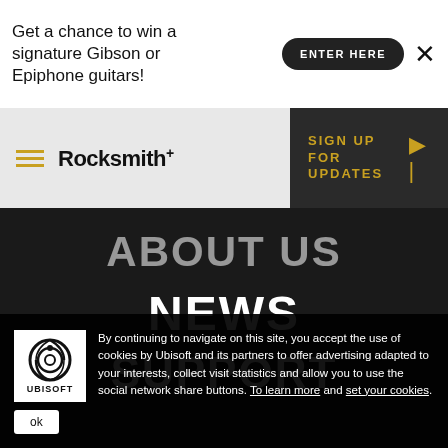Get a chance to win a signature Gibson or Epiphone guitars!
ENTER HERE
[Figure (logo): Rocksmith+ logo with hamburger menu icon and yellow lines]
SIGN UP FOR UPDATES
ABOUT US
NEWS
SUPPORT
Contact Us
Terms of Use
Do Not Sell My Personal Information
Cookies
By continuing to navigate on this site, you accept the use of cookies by Ubisoft and its partners to offer advertising adapted to your interests, collect visit statistics and allow you to use the social network share buttons. To learn more and set your cookies.
ok